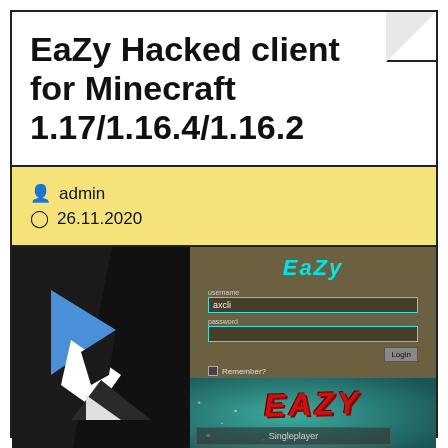EaZy Hacked client for Minecraft 1.17/1.16.4/1.16.2
admin  26.11.2020
[Figure (screenshot): Screenshot of EaZy Minecraft hacked client showing login screen with EaZy logo in cyan text, username/password fields, Login button, Remember? checkbox on dark olive background; and main menu with large red graffiti-style EAZY text on teal background with Singleplayer button. Left side shows dark panel with geometric logo made of blue, white and dark triangular shapes.]